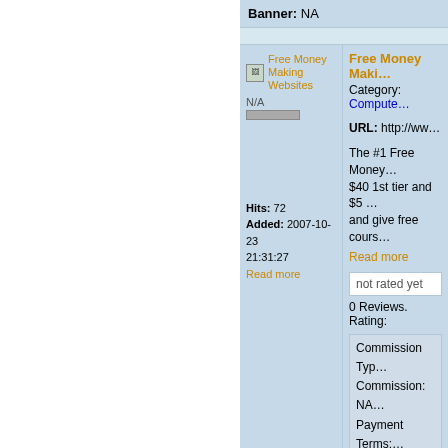Banner: NA
| Left | Right |
| --- | --- |
| Free Money Making Websites | N/A | Hits: 72 | Added: 2007-10-23 21:31:27 | Read more | Free Money Maki… | Category: Compute… | URL: http://www.fre… | The #1 Free Money… $40 1st tier and $5 … and give free cours… | Read more | not rated yet | 0 Reviews. Rating: | Commission Typ… Commission: NA… Payment Terms:… | Tweet this Link… |
Banner: NA
| Left | Right |
| --- | --- |
| FitnessAnywhere.com | PR: 4 | FitnessAnywhere.… | Category: Health &… |